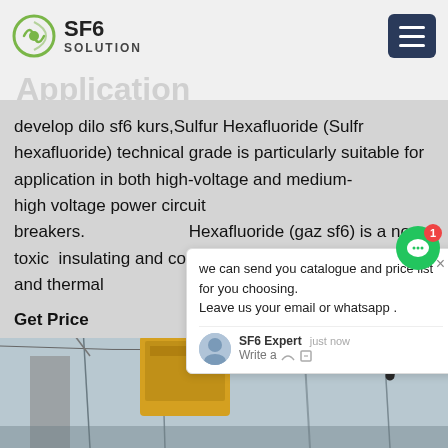SF6 SOLUTION
develop dilo sf6 kurs,Sulfur Hexafluoride (Sulfr hexafluoride) technical grade is particularly suitable for application in both high-voltage and medium-high voltage power circuit breakers. Hexafluoride (gaz sf6) is a non-toxic insulating and cooling gas of high di...g and thermal
Get Price
we can send you catalogue and price list for you choosing.
Leave us your email or whatsapp .
SF6 Expert   just now
Write a
[Figure (photo): Industrial electrical substation equipment including circuit breakers and high-voltage power lines, photographed from ground level looking up.]